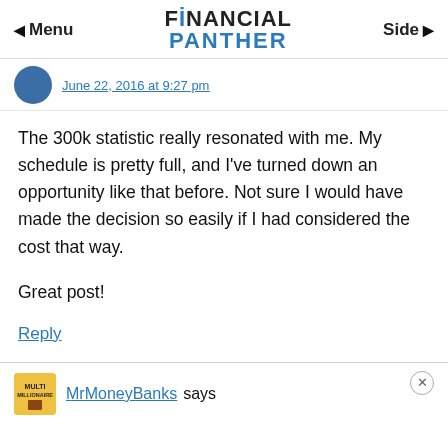Menu | Financial Panther | Side
June 22, 2016 at 9:27 pm
The 300k statistic really resonated with me. My schedule is pretty full, and I've turned down an opportunity like that before. Not sure I would have made the decision so easily if I had considered the cost that way.
Great post!
Reply
MrMoneyBanks says